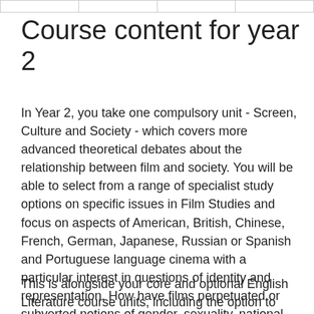|  |   |   |   |
Course content for year 2
In Year 2, you take one compulsory unit - Screen, Culture and Society - which covers more advanced theoretical debates about the relationship between film and society. You will be able to select from a range of specialist study options on specific issues in Film Studies and focus on aspects of American, British, Chinese, French, German, Japanese, Russian or Spanish and Portuguese language cinema with a particular interest in questions of identity and representation. How have films perpetuated or subverted notions of gender, sexuality, national identity, ethnicity and class?
This is alongside your core and optional English Literature course units, including the option to study